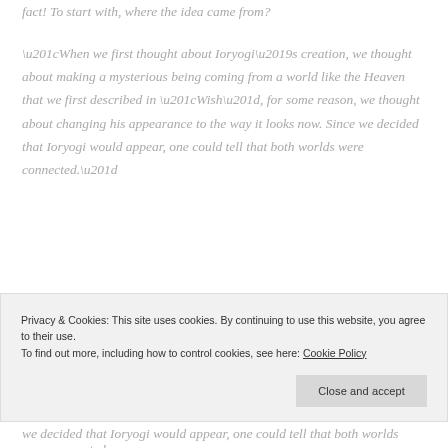fact! To start with, where the idea came from?
“When we first thought about Ioryogi’s creation, we thought about making a mysterious being coming from a world like the Heaven that we first described in “Wish”, for some reason, we thought about changing his appearance to the way it looks now. Since we decided that Ioryogi would appear, one could tell that both worlds were connected.”
Privacy & Cookies: This site uses cookies. By continuing to use this website, you agree to their use. To find out more, including how to control cookies, see here: Cookie Policy
we decided that Ioryogi would appear, one could tell that both worlds were connected.